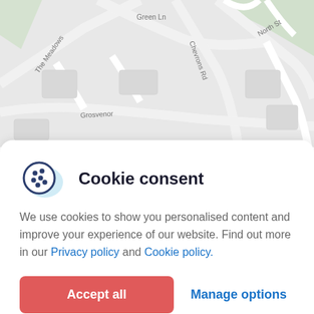[Figure (map): Street map showing The Meadows, Green Ln, North St, Chevrons Rd, Grosvenor road area with light grey road network and light green park area]
Cookie consent
We use cookies to show you personalised content and improve your experience of our website. Find out more in our Privacy policy and Cookie policy.
Accept all
Manage options